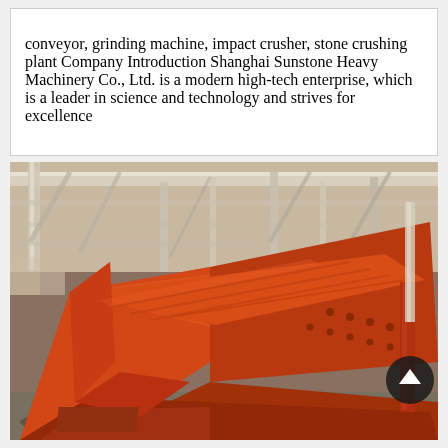conveyor, grinding machine, impact crusher, stone crushing plant Company Introduction Shanghai Sunstone Heavy Machinery Co., Ltd. is a modern high-tech enterprise, which is a leader in science and technology and strives for excellence
[Figure (photo): Large orange industrial vibrating screen machine inside a factory/warehouse with steel structural beams and columns visible in the background. The machine is painted bright orange-red and appears to be heavy mining or quarrying equipment.]